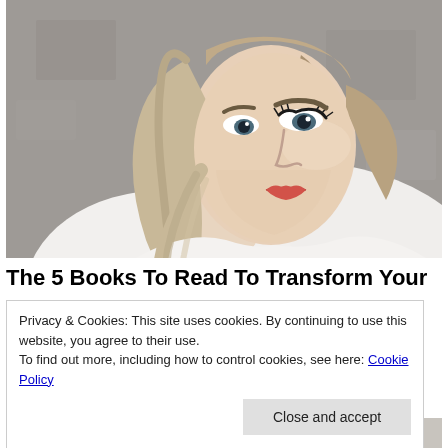[Figure (photo): Portrait photo of a young blonde woman with red lipstick and dramatic eye makeup, wearing a white top, looking to the side against a grey concrete background.]
The 5 Books To Read To Transform Your
Privacy & Cookies: This site uses cookies. By continuing to use this website, you agree to their use.
To find out more, including how to control cookies, see here: Cookie Policy
Close and accept